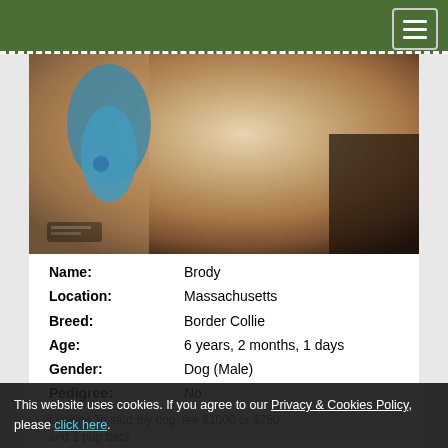[Figure (photo): Close-up photo of a Border Collie dog with light/tan fur and a blue tag visible on its collar, blurred background]
| Name: | Brody |
| Location: | Massachusetts |
| Breed: | Border Collie |
| Age: | 6 years, 2 months, 1 days |
| Gender: | Dog (Male) |
| Pedigree: | No |
Looking To stud my dog, fee $1000 or $750 and 1 pup back
This website uses cookies. If you agree to our Privacy & Cookies Policy, please click here.